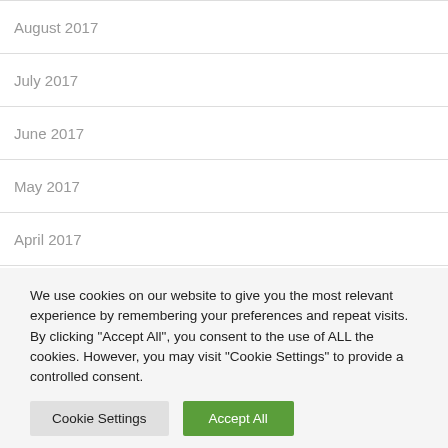August 2017
July 2017
June 2017
May 2017
April 2017
February 2017
January 2017
December 2016
We use cookies on our website to give you the most relevant experience by remembering your preferences and repeat visits. By clicking "Accept All", you consent to the use of ALL the cookies. However, you may visit "Cookie Settings" to provide a controlled consent.